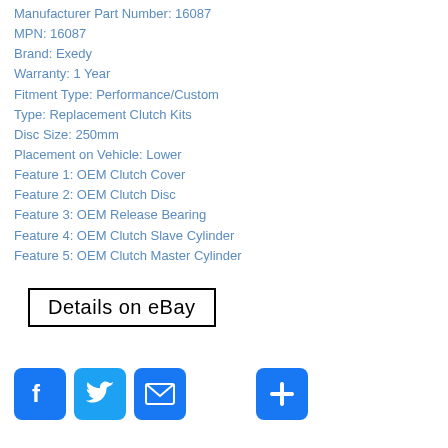Manufacturer Part Number: 16087
MPN: 16087
Brand: Exedy
Warranty: 1 Year
Fitment Type: Performance/Custom
Type: Replacement Clutch Kits
Disc Size: 250mm
Placement on Vehicle: Lower
Feature 1: OEM Clutch Cover
Feature 2: OEM Clutch Disc
Feature 3: OEM Release Bearing
Feature 4: OEM Clutch Slave Cylinder
Feature 5: OEM Clutch Master Cylinder
[Figure (screenshot): Details on eBay button with black border]
[Figure (infographic): Social media icons: Facebook, Twitter, Email, and a blue plus button]